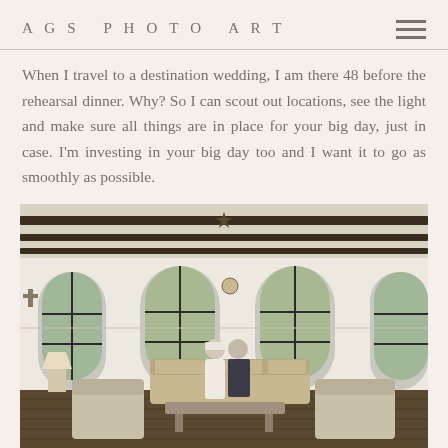AGS PHOTO ART
When I travel to a destination wedding, I am there 48 before the rehearsal dinner. Why? So I can scout out locations, see the light and make sure all things are in place for your big day, just in case. I'm investing in your big day too and I want it to go as smoothly as possible.
[Figure (photo): Interior of an elegant venue with white walls, dark wooden ceiling beams, large arched windows with black metal frames, a couple (bride in white dress and groom in military uniform) seated on a sofa, surrounded by upholstered chairs and warm lighting.]